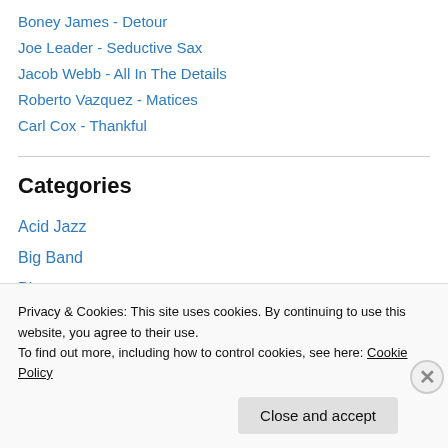Boney James - Detour
Joe Leader - Seductive Sax
Jacob Webb - All In The Details
Roberto Vazquez - Matices
Carl Cox - Thankful
Categories
Acid Jazz
Big Band
Blues
Books
CD Reviews
Privacy & Cookies: This site uses cookies. By continuing to use this website, you agree to their use.
To find out more, including how to control cookies, see here: Cookie Policy
Close and accept